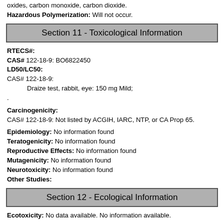oxides, carbon monoxide, carbon dioxide.
Hazardous Polymerization: Will not occur.
Section 11 - Toxicological Information
RTECS#:
CAS# 122-18-9: BO6822450
LD50/LC50:
CAS# 122-18-9:
Draize test, rabbit, eye: 150 mg Mild;
.
Carcinogenicity:
CAS# 122-18-9: Not listed by ACGIH, IARC, NTP, or CA Prop 65.
Epidemiology: No information found
Teratogenicity: No information found
Reproductive Effects: No information found
Mutagenicity: No information found
Neurotoxicity: No information found
Other Studies:
Section 12 - Ecological Information
Ecotoxicity: No data available. No information available.